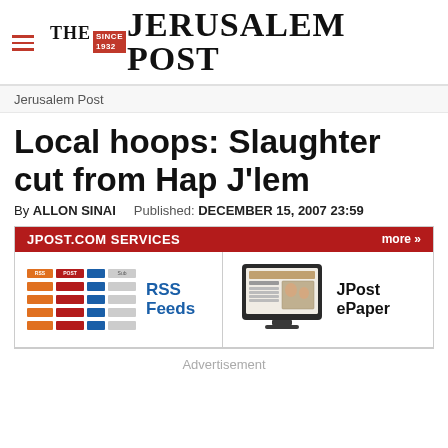THE JERUSALEM POST
Jerusalem Post
Local hoops: Slaughter cut from Hap J'lem
By ALLON SINAI   Published: DECEMBER 15, 2007 23:59
[Figure (screenshot): JPOST.COM SERVICES advertisement banner showing RSS Feeds and JPost ePaper options with more link]
Advertisement